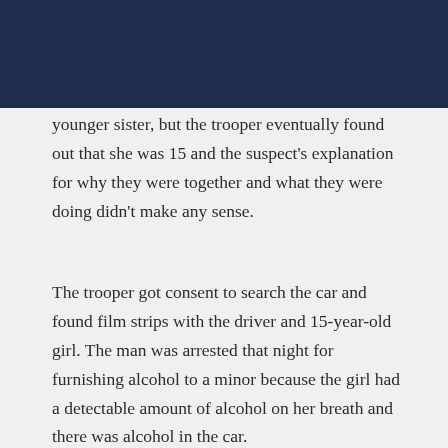[Figure (screenshot): Email subscription overlay with dark navy background, email input field, red SUBSCRIBE NOW! button, and close (X) button]
younger sister, but the trooper eventually found out that she was 15 and the suspect's explanation for why they were together and what they were doing didn't make any sense.
The trooper got consent to search the car and found film strips with the driver and 15-year-old girl. The man was arrested that night for furnishing alcohol to a minor because the girl had a detectable amount of alcohol on her breath and there was alcohol in the car.